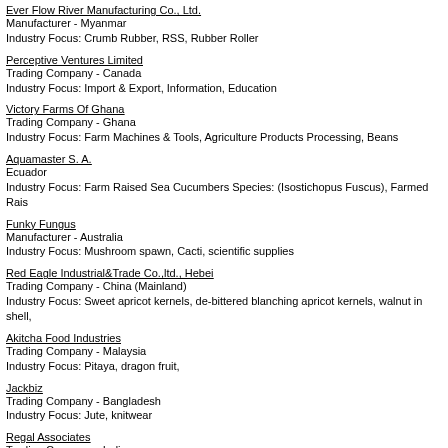Ever Flow River Manufacturing Co., Ltd.
Manufacturer - Myanmar
Industry Focus: Crumb Rubber, RSS, Rubber Roller
Perceptive Ventures Limited
Trading Company - Canada
Industry Focus: Import & Export, Information, Education
Victory Farms Of Ghana
Trading Company - Ghana
Industry Focus: Farm Machines & Tools, Agriculture Products Processing, Beans
Aquamaster S. A.
Ecuador
Industry Focus: Farm Raised Sea Cucumbers Species: (Isostichopus Fuscus), Farmed Rais
Funky Fungus
Manufacturer - Australia
Industry Focus: Mushroom spawn, Cacti, scientific supplies
Red Eagle Industrial&Trade Co.,ltd., Hebei
Trading Company - China (Mainland)
Industry Focus: Sweet apricot kernels, de-bittered blanching apricot kernels, walnut in shell,
Akitcha Food Industries
Trading Company - Malaysia
Industry Focus: Pitaya, dragon fruit,
Jackbiz
Trading Company - Bangladesh
Industry Focus: Jute, knitwear
Regal Associates
Trading Company - India
Industry Focus: Generators, tiles, rice
Ermeda Export
Manufacturer - Morocco